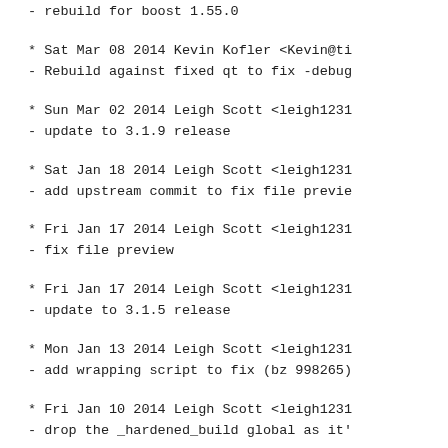- rebuild for boost 1.55.0
* Sat Mar 08 2014 Kevin Kofler <Kevin@ti
- Rebuild against fixed qt to fix -debug
* Sun Mar 02 2014 Leigh Scott <leigh1231
- update to 3.1.9 release
* Sat Jan 18 2014 Leigh Scott <leigh1231
- add upstream commit to fix file previe
* Fri Jan 17 2014 Leigh Scott <leigh1231
- fix file preview
* Fri Jan 17 2014 Leigh Scott <leigh1231
- update to 3.1.5 release
* Mon Jan 13 2014 Leigh Scott <leigh1231
- add wrapping script to fix (bz 998265)
* Fri Jan 10 2014 Leigh Scott <leigh1231
- drop the _hardened_build global as it'
* Fri Jan 10 2014 Leigh Scott <leigh1231